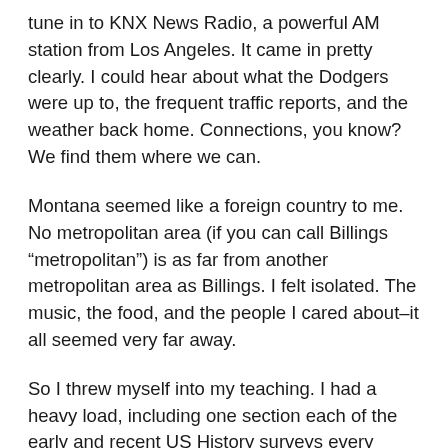tune in to KNX News Radio, a powerful AM station from Los Angeles. It came in pretty clearly. I could hear about what the Dodgers were up to, the frequent traffic reports, and the weather back home. Connections, you know? We find them where we can.
Montana seemed like a foreign country to me. No metropolitan area (if you can call Billings “metropolitan”) is as far from another metropolitan area as Billings. I felt isolated. The music, the food, and the people I cared about–it all seemed very far away.
So I threw myself into my teaching. I had a heavy load, including one section each of the early and recent US History surveys every single semester. I had a lot to do. I felt more tired than I did when I was preparing for my comprehensive exams. What’s more, there was the surprise of teaching a methodology course my first semester. Underprepared, I asked the students to write about a historical event that they